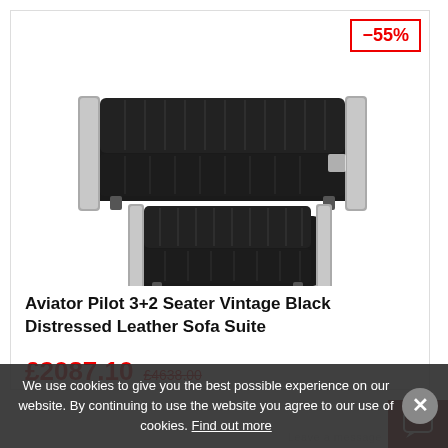[Figure (photo): Photo of Aviator Pilot 3+2 seater vintage black distressed leather sofa suite — a large 3-seater sofa on top and a smaller 2-seater below, both with ribbed black leather upholstery and silver/chrome side panels. A red -55% discount badge appears in the top-right corner of the card.]
Aviator Pilot 3+2 Seater Vintage Black Distressed Leather Sofa Suite
£2087.10
We use cookies to give you the best possible experience on our website. By continuing to use the website you agree to our use of cookies. Find out more